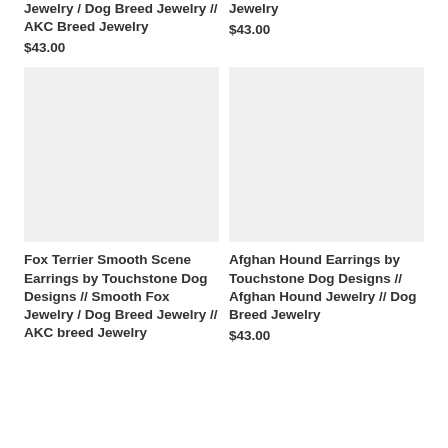Jewelry / Dog Breed Jewelry // AKC Breed Jewelry
$43.00
Jewelry
$43.00
[Figure (photo): Product image placeholder - light gray rectangle for Fox Terrier earrings]
[Figure (photo): Product image placeholder - light gray rectangle for Afghan Hound earrings]
Fox Terrier Smooth Scene Earrings by Touchstone Dog Designs // Smooth Fox Jewelry / Dog Breed Jewelry // AKC breed Jewelry
Afghan Hound Earrings by Touchstone Dog Designs // Afghan Hound Jewelry // Dog Breed Jewelry
$43.00